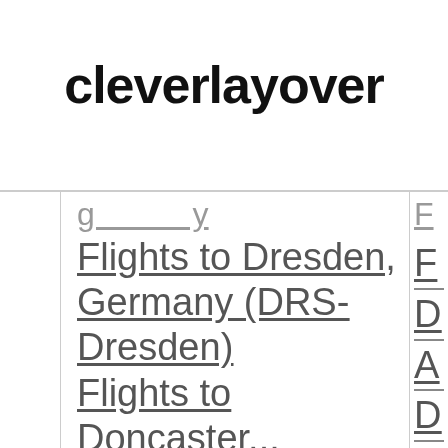cleverlayover
| Flights to Dresden, Germany (DRS-Dresden) | F... |
| Flights to Doncaster... | N... |